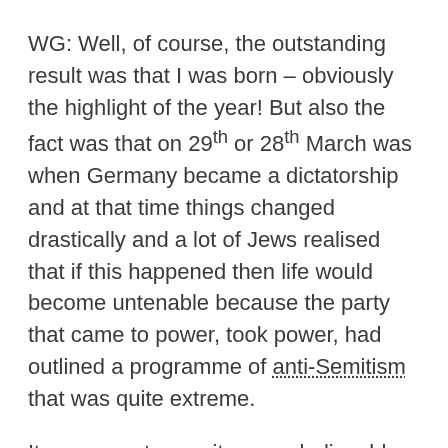WG: Well, of course, the outstanding result was that I was born – obviously the highlight of the year! But also the fact was that on 29th or 28th March was when Germany became a dictatorship and at that time things changed drastically and a lot of Jews realised that if this happened then life would become untenable because the party that came to power, took power, had outlined a programme of anti-Semitism that was quite extreme.
It was so extreme, it was unbelievable but it rapidly became known that it was believable because Jews suddenly passed...